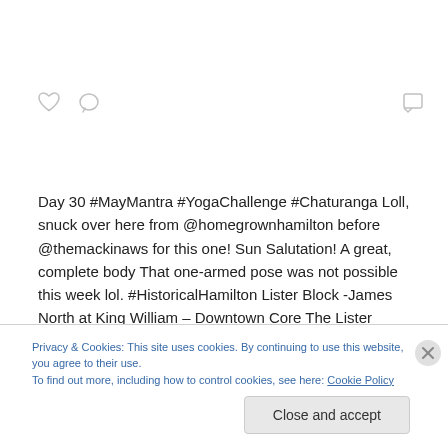Day 30 #MayMantra #YogaChallenge #Chaturanga Loll, snuck over here from @homegrownhamilton before @themackinaws for this one! Sun Salutation! A great, complete body That one-armed pose was not possible this week lol. #HistoricalHamilton Lister Block -James North at King William – Downtown Core The Lister Block, first built in
Privacy & Cookies: This site uses cookies. By continuing to use this website, you agree to their use.
To find out more, including how to control cookies, see here: Cookie Policy
Close and accept